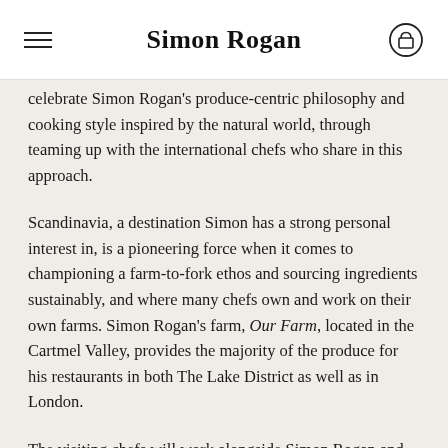Simon Rogan
celebrate Simon Rogan's produce-centric philosophy and cooking style inspired by the natural world, through teaming up with the international chefs who share in this approach.
Scandinavia, a destination Simon has a strong personal interest in, is a pioneering force when it comes to championing a farm-to-fork ethos and sourcing ingredients sustainably, and where many chefs own and work on their own farms. Simon Rogan's farm, Our Farm, located in the Cartmel Valley, provides the majority of the produce for his restaurants in both The Lake District as well as in London.
The visiting chefs will work alongside Simon Rogan and his team to prepare an eight course menu celebrating their signature cooking style, whilst showcasing the stand-out produce and philosophies which have put their acclaimed